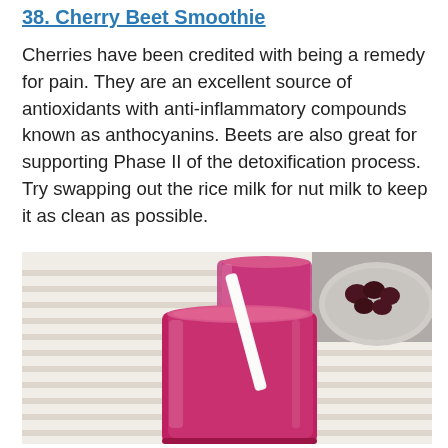38. Cherry Beet Smoothie
Cherries have been credited with being a remedy for pain. They are an excellent source of antioxidants with anti-inflammatory compounds known as anthocyanins. Beets are also great for supporting Phase II of the detoxification process. Try swapping out the rice milk for nut milk to keep it as clean as possible.
[Figure (photo): Two glasses of deep pink/magenta cherry beet smoothie on a white striped cloth surface. The foreground glass is larger with a white straw. A second glass is behind it. A dark plate with cherries is visible in the upper right background.]